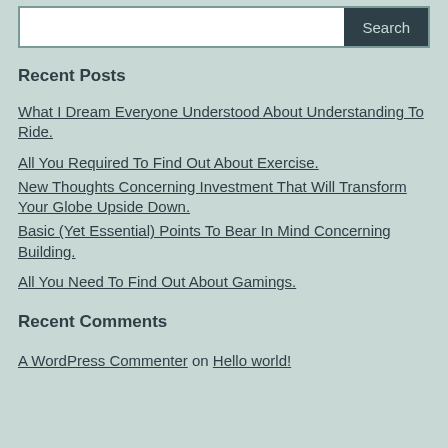Recent Posts
What I Dream Everyone Understood About Understanding To Ride.
All You Required To Find Out About Exercise.
New Thoughts Concerning Investment That Will Transform Your Globe Upside Down.
Basic (Yet Essential) Points To Bear In Mind Concerning Building.
All You Need To Find Out About Gamings.
Recent Comments
A WordPress Commenter on Hello world!